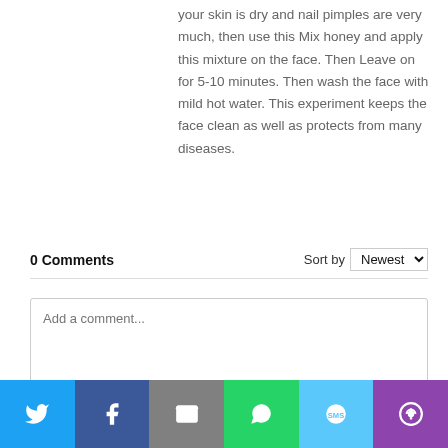your skin is dry and nail pimples are very much, then use this Mix honey and apply this mixture on the face.  Then  Leave on for 5-10 minutes. Then wash the face with mild hot water. This experiment keeps the face clean as well as protects from many diseases.
0 Comments    Sort by Newest
[Figure (screenshot): Comment input box with placeholder text 'Add a comment...']
[Figure (infographic): Social share bar with Twitter, Facebook, Email, WhatsApp, SMS, and More buttons]